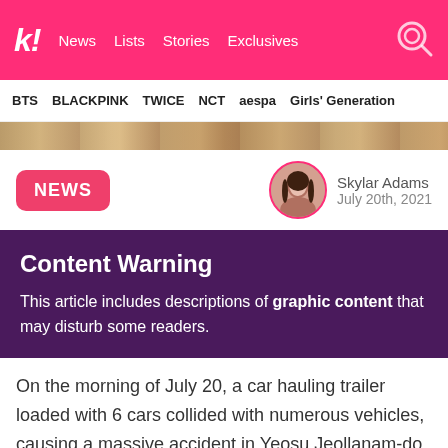k! News Lists Stories Exclusives
BTS BLACKPINK TWICE NCT aespa Girls' Generation
[Figure (photo): Partial hero image strip, blurred/cropped background image]
NEWS
[Figure (photo): Author avatar photo of Skylar Adams]
Skylar Adams
July 20th, 2021
Content Warning
This article includes descriptions of graphic content that may disturb some readers.
On the morning of July 20, a car hauling trailer loaded with 6 cars collided with numerous vehicles, causing a massive accident in Yeosu Jeollanam-do. The accident occurred when the